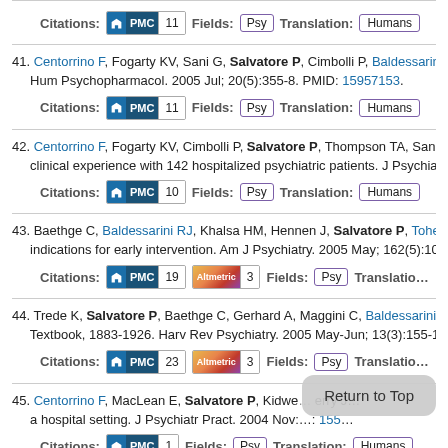Citations: PMC 11   Fields: Psy   Translation: Humans
41. Centorrino F, Fogarty KV, Sani G, Salvatore P, Cimbolli P, Baldessarini... Hum Psychopharmacol. 2005 Jul; 20(5):355-8. PMID: 15957153.
Citations: PMC 11   Fields: Psy   Translation: Humans
42. Centorrino F, Fogarty KV, Cimbolli P, Salvatore P, Thompson TA, Sani... clinical experience with 142 hospitalized psychiatric patients. J Psychia...
Citations: PMC 10   Fields: Psy   Translation: Humans
43. Baethge C, Baldessarini RJ, Khalsa HM, Hennen J, Salvatore P, Tohe... indications for early intervention. Am J Psychiatry. 2005 May; 162(5):10...
Citations: PMC 19  Altmetric 3   Fields: Psy   Translation:
44. Trede K, Salvatore P, Baethge C, Gerhard A, Maggini C, Baldessarini... Textbook, 1883-1926. Harv Rev Psychiatry. 2005 May-Jun; 13(3):155-1...
Citations: PMC 23  Altmetric 3   Fields: Psy   Translation:
45. Centorrino F, MacLean E, Salvatore P, Kidwe... erry J... a hospital setting. J Psychiatr Pract. 2004 Nov:...: 155...
Citations: PMC 1   Fields: Psy   Translation: Humans